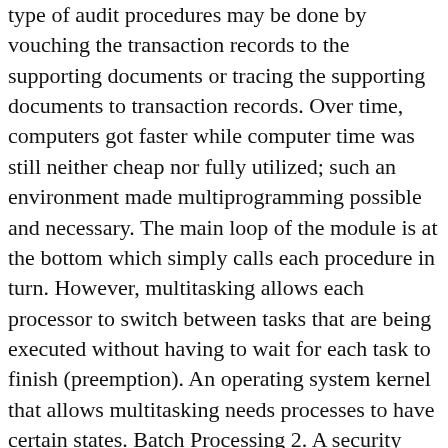type of audit procedures may be done by vouching the transaction records to the supporting documents or tracing the supporting documents to transaction records. Over time, computers got faster while computer time was still neither cheap nor fully utilized; such an environment made multiprogramming possible and necessary. The main loop of the module is at the bottom which simply calls each procedure in turn. However, multitasking allows each processor to switch between tasks that are being executed without having to wait for each task to finish (preemption). An operating system kernel that allows multitasking needs processes to have certain states. Batch Processing 2. A security procedure is a set sequence of necessary activities that performs a specific security task or function. 3. In Back-end Testing GUI is not involved, testers are directly connected to the